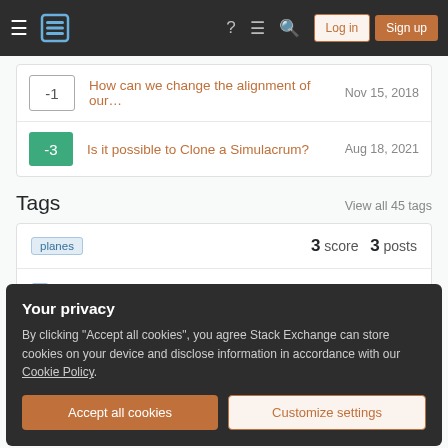Stack Exchange navigation bar with Log in and Sign up buttons
-1  How can we change the alignment of our…  Nov 15, 2018
-3  Is it possible to Clone a Simulacrum?  Aug 18, 2021
Tags
View all 45 tags
planes  3 score  3 posts
Your privacy
By clicking "Accept all cookies", you agree Stack Exchange can store cookies on your device and disclose information in accordance with our Cookie Policy.
Accept all cookies   Customize settings